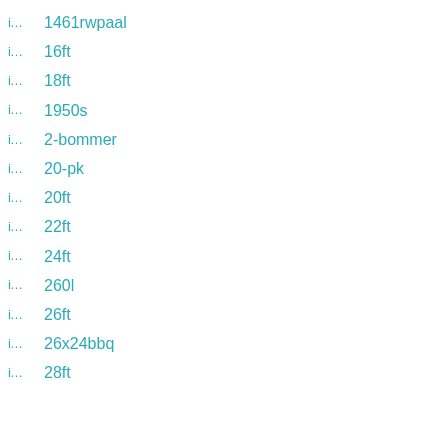1461rwpaal
16ft
18ft
1950s
2-bommer
20-pk
20ft
22ft
24ft
260l
26ft
26x24bbq
28ft